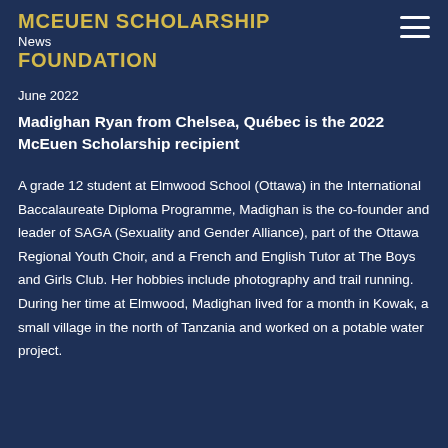MCEUEN SCHOLARSHIP
News
FOUNDATION
June 2022
Madighan Ryan from Chelsea, Québec is the 2022 McEuen Scholarship recipient
A grade 12 student at Elmwood School (Ottawa) in the International Baccalaureate Diploma Programme, Madighan is the co-founder and leader of SAGA (Sexuality and Gender Alliance), part of the Ottawa Regional Youth Choir, and a French and English Tutor at The Boys and Girls Club. Her hobbies include photography and trail running. During her time at Elmwood, Madighan lived for a month in Kowak, a small village in the north of Tanzania and worked on a potable water project.